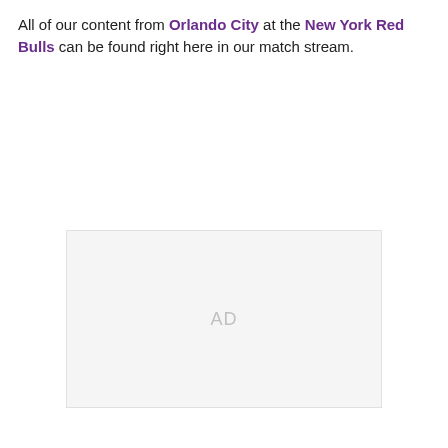All of our content from Orlando City at the New York Red Bulls can be found right here in our match stream.
[Figure (other): Advertisement placeholder box with 'AD' label in light gray text on a light gray background]